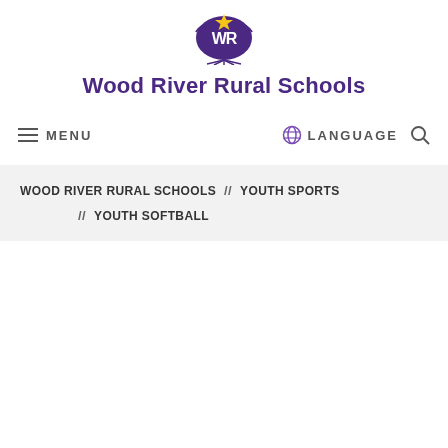[Figure (logo): Wood River Rural Schools WR eagle logo with yellow star and purple text]
Wood River Rural Schools
MENU   LANGUAGE
WOOD RIVER RURAL SCHOOLS  //  YOUTH SPORTS  //  YOUTH SOFTBALL